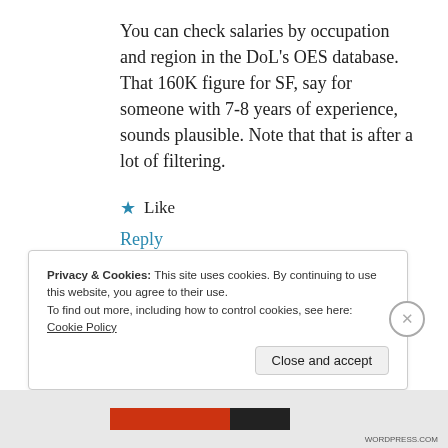You can check salaries by occupation and region in the DoL's OES database. That 160K figure for SF, say for someone with 7-8 years of experience, sounds plausible. Note that that is after a lot of filtering.
★ Like
Reply
Privacy & Cookies: This site uses cookies. By continuing to use this website, you agree to their use.
To find out more, including how to control cookies, see here: Cookie Policy
Close and accept